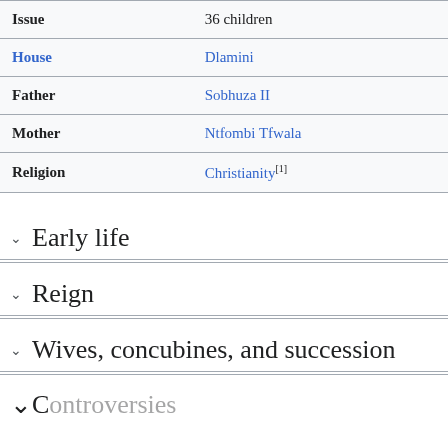| Issue | 36 children |
| House | Dlamini |
| Father | Sobhuza II |
| Mother | Ntfombi Tfwala |
| Religion | Christianity[1] |
Early life
Reign
Wives, concubines, and succession
Controversies